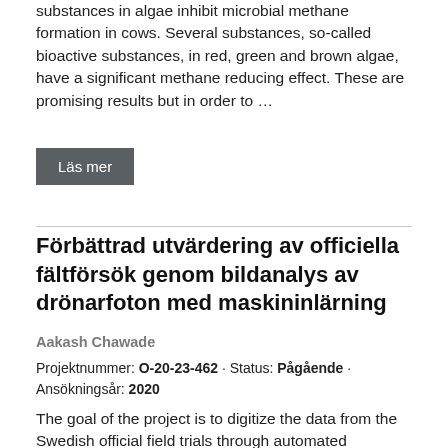substances in algae inhibit microbial methane formation in cows. Several substances, so-called bioactive substances, in red, green and brown algae, have a significant methane reducing effect. These are promising results but in order to …
Läs mer
Förbättrad utvärdering av officiella fältförsök genom bildanalys av drönarfoton med maskininlärning
Aakash Chawade
Projektnummer: O-20-23-462 · Status: Pågående · Ansökningsår: 2020
The goal of the project is to digitize the data from the Swedish official field trials through automated estimates of important traits such as germination, growth, resistance, maturity and the